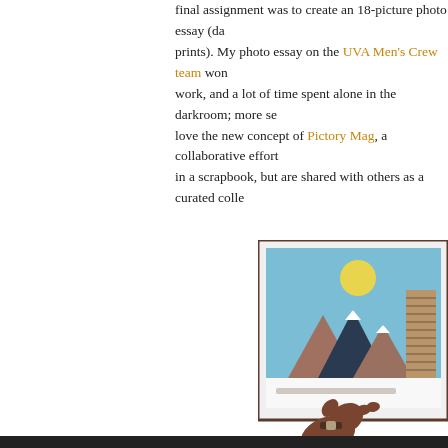final assignment was to create an 18-picture photo essay (da prints). My photo essay on the UVA Men's Crew team won work, and a lot of time spent alone in the darkroom; more se love the new concept of Pictory Mag, a collaborative effort in a scrapbook, but are shared with others as a curated colle
[Figure (illustration): An illustration of a hand holding up a framed photograph/artwork. The frame contains a mountain landscape scene with blue sky, a yellow sun, dark mountain peaks with snow caps, brown triangular mountains, and a striped building/tower on the right. The hand and arm are dark brown. The frame is white with a dark border.]